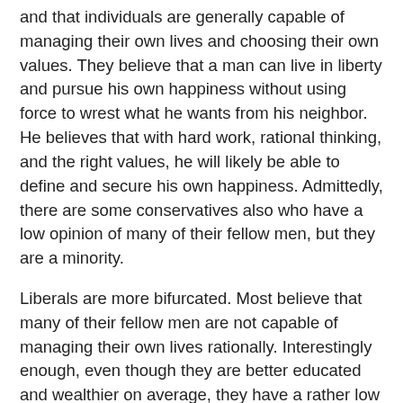and that individuals are generally capable of managing their own lives and choosing their own values. They believe that a man can live in liberty and pursue his own happiness without using force to wrest what he wants from his neighbor. He believes that with hard work, rational thinking, and the right values, he will likely be able to define and secure his own happiness. Admittedly, there are some conservatives also who have a low opinion of many of their fellow men, but they are a minority.
Liberals are more bifurcated. Most believe that many of their fellow men are not capable of managing their own lives rationally. Interestingly enough, even though they are better educated and wealthier on average, they have a rather low opinion of themselves. They are rather appalled that they have such materialistic values and feel guilty for their wealth. Some feel guilty because they believe they are the oppressors who hold the poor in subjugation. Some actually feel guilt for using the power of government to shift wealth from others to themselves. Some feel guilty because they have such a low opinion of so many others, which is something that those with a low opinion of themselves are